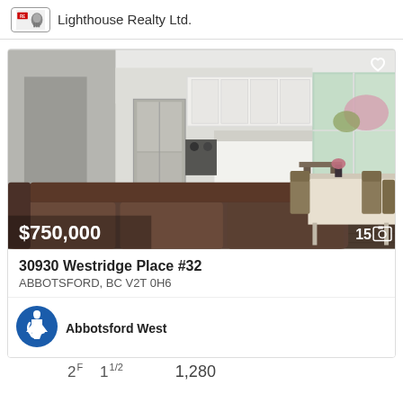Lighthouse Realty Ltd.
[Figure (photo): Interior photo of a modern open-plan living room with leather sofa, kitchen with stainless steel refrigerator and white cabinets, dark hardwood floors, and dining area with wooden table and chairs near bright windows. Price overlay $750,000 and photo count 15 shown.]
30930 Westridge Place #32
ABBOTSFORD, BC V2T 0H6
Abbotsford West
2F  1 1/2  1,280